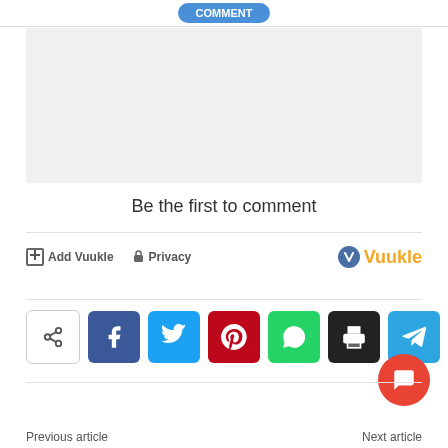[Figure (screenshot): Blue comment/submit button at top of page, partially cropped]
[Figure (screenshot): Light grey advertisement or placeholder box]
Be the first to comment
Add Vuukle   Privacy   Vuukle
[Figure (screenshot): Social share bar with share icon, Facebook, Twitter, Pinterest, WhatsApp, Print, Telegram buttons]
[Figure (screenshot): Orange/red floating action button with comment icon]
Previous article   Next article